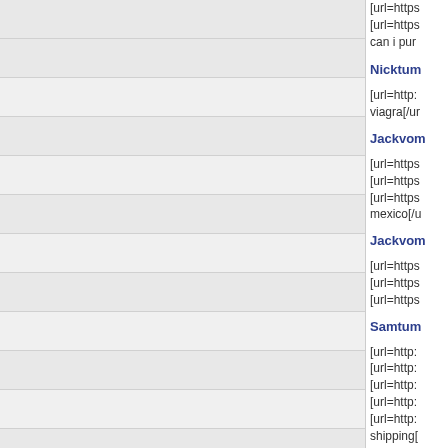[url=https [url=https can i pur
Nicktum
[url=http: viagra[/ur
Jackvom
[url=https [url=https [url=https mexico[/u
Jackvom
[url=https [url=https [url=https
Samtum
[url=http: [url=http: [url=http: [url=http: [url=http: shipping[
Joevom